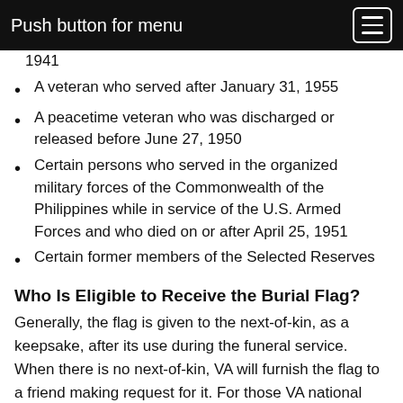Push button for menu
1941
A veteran who served after January 31, 1955
A peacetime veteran who was discharged or released before June 27, 1950
Certain persons who served in the organized military forces of the Commonwealth of the Philippines while in service of the U.S. Armed Forces and who died on or after April 25, 1951
Certain former members of the Selected Reserves
Who Is Eligible to Receive the Burial Flag?
Generally, the flag is given to the next-of-kin, as a keepsake, after its use during the funeral service. When there is no next-of-kin, VA will furnish the flag to a friend making request for it. For those VA national cemeteries with an Avenue of Flags, families of veterans buried in these national cemeteries may donate the burial flags of their loved ones to be flown on patriotic holidays.